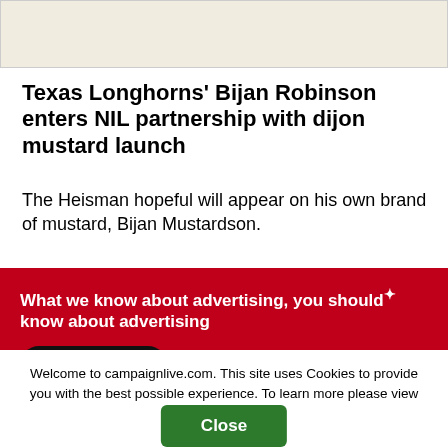[Figure (photo): Top portion of an image, cropped, showing a light beige/cream background — likely a product image partially visible]
Texas Longhorns' Bijan Robinson enters NIL partnership with dijon mustard launch
The Heisman hopeful will appear on his own brand of mustard, Bijan Mustardson.
What we know about advertising, you should know about advertising
Join Free
Welcome to campaignlive.com. This site uses Cookies to provide you with the best possible experience. To learn more please view our Cookie Notice.
Close